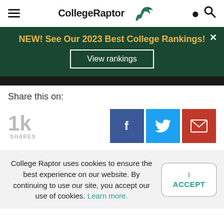College Raptor
[Figure (infographic): Green banner with text: NEW! See Our 2023 Best College Rankings! with a View rankings button and close X button]
Share this on:
1k SHARES
[Figure (infographic): Social share buttons: Facebook (blue), Twitter (cyan), Email (red)]
College Raptor uses cookies to ensure the best experience on our website. By continuing to use our site, you accept our use of cookies. Learn more.
I ACCEPT